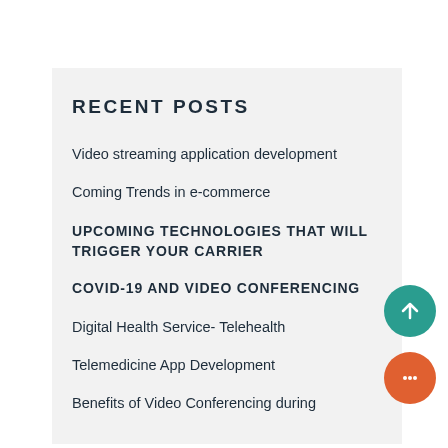RECENT POSTS
Video streaming application development
Coming Trends in e-commerce
UPCOMING TECHNOLOGIES THAT WILL TRIGGER YOUR CARRIER
COVID-19 AND VIDEO CONFERENCING
Digital Health Service- Telehealth
Telemedicine App Development
Benefits of Video Conferencing during